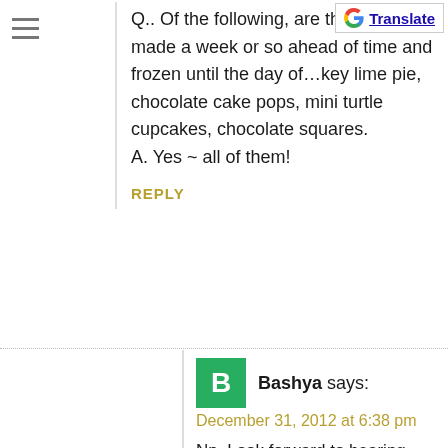Q.. Of the following, are there any that can be made a week or so ahead of time and frozen until the day of…key lime pie, chocolate cake pops, mini turtle cupcakes, chocolate squares. A. Yes ~ all of them!
REPLY
Bashya says:
December 31, 2012 at 6:38 pm
Np. Look forward to hearing from you.
REPLY
Bashya says:
January 1, 2013 at 9:03 am
Thanks. Where would I find the recipe for the raw truffle? And would it work on a stick like the